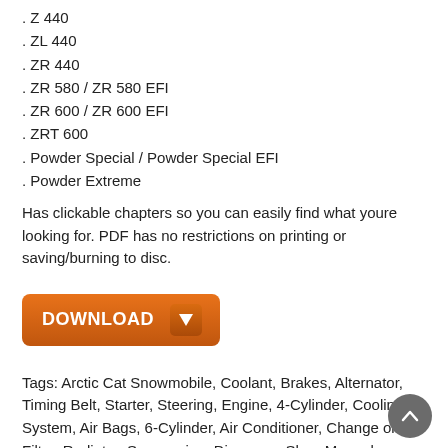. Z 440
. ZL 440
. ZR 440
. ZR 580 / ZR 580 EFI
. ZR 600 / ZR 600 EFI
. ZRT 600
. Powder Special / Powder Special EFI
. Powder Extreme
Has clickable chapters so you can easily find what youre looking for. PDF has no restrictions on printing or saving/burning to disc.
[Figure (other): Orange download button with arrow icon]
Tags: Arctic Cat Snowmobile, Coolant, Brakes, Alternator, Timing Belt, Starter, Steering, Engine, 4-Cylinder, Cooling System, Air Bags, 6-Cylinder, Air Conditioner, Change oil, Air Filter, Radiator, Suspension, Diagnose, Shop Manual, Service Manual, Troubleshooting, Spark plugs, Battery, Repair Manual